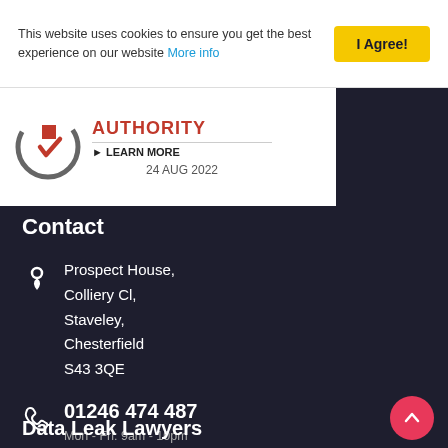This website uses cookies to ensure you get the best experience on our website More info
I Agree!
[Figure (logo): Circular checkmark logo with red accent, text AUTHORITY and LEARN MORE, date 24 AUG 2022]
Contact
Prospect House, Colliery Cl, Staveley, Chesterfield S43 3QE
01246 474 487
Mon - Fri: 9am - 10pm
Sat - Sun: 10am - 5pm
help@dataleaklawyers.co.uk
Data Leak Lawyers